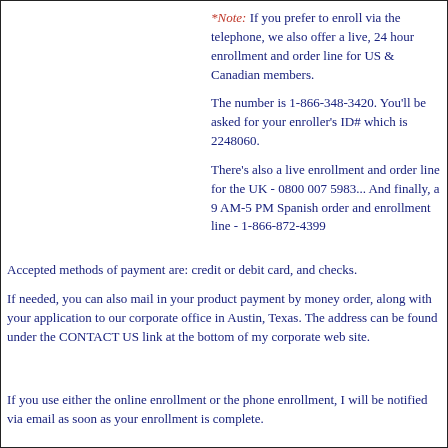*Note: If you prefer to enroll via the telephone, we also offer a live, 24 hour enrollment and order line for US & Canadian members.
The number is 1-866-348-3420. You'll be asked for your enroller's ID# which is 2248060.
There's also a live enrollment and order line for the UK - 0800 007 5983... And finally, a 9 AM-5 PM Spanish order and enrollment line - 1-866-872-4399
Accepted methods of payment are: credit or debit card, and checks.
If needed, you can also mail in your product payment by money order, along with your application to our corporate office in Austin, Texas. The address can be found under the CONTACT US link at the bottom of my corporate web site.
If you use either the online enrollment or the phone enrollment, I will be notified via email as soon as your enrollment is complete.